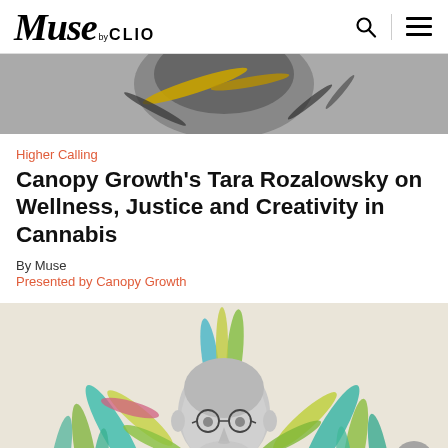Muse by CLIO
[Figure (photo): Partial black and white photo of a person with decorative colored leaf/brush strokes overlaid, cropped at top]
Higher Calling
Canopy Growth's Tara Rozalowsky on Wellness, Justice and Creativity in Cannabis
By Muse
Presented by Canopy Growth
[Figure (photo): Black and white photo of a bald man wearing round glasses, surrounded by colorful illustrated tropical/cannabis leaves in teal, yellow-green, and pink tones, on a light beige background. A gray scroll-to-top button is visible in the lower right.]